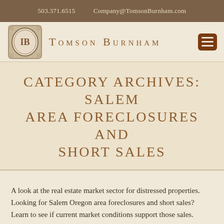503.371.6515    Company@TomsonBurnham.com
[Figure (logo): Tomson Burnham logo emblem with IB monogram in an ornate oval frame, and brand name 'Tomson Burnham' in small caps with a hamburger menu icon]
CATEGORY ARCHIVES: SALEM AREA FORECLOSURES AND SHORT SALES
A look at the real estate market sector for distressed properties. Looking for Salem Oregon area foreclosures and short sales? Learn to see if current market conditions support those sales.